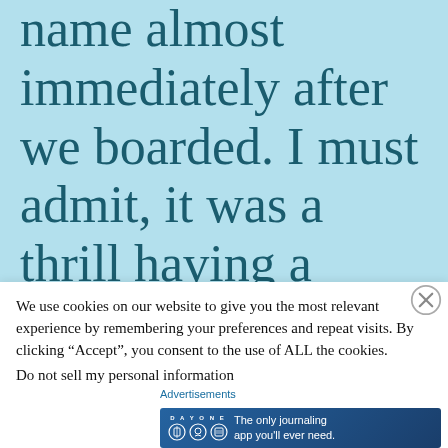name almost immediately after we boarded. I must admit, it was a thrill having a dashing young Frenchman with a
We use cookies on our website to give you the most relevant experience by remembering your preferences and repeat visits. By clicking “Accept”, you consent to the use of ALL the cookies.
Do not sell my personal information
[Figure (screenshot): Day One journaling app advertisement banner: 'The only journaling app you'll ever need.' with app icons on dark blue background]